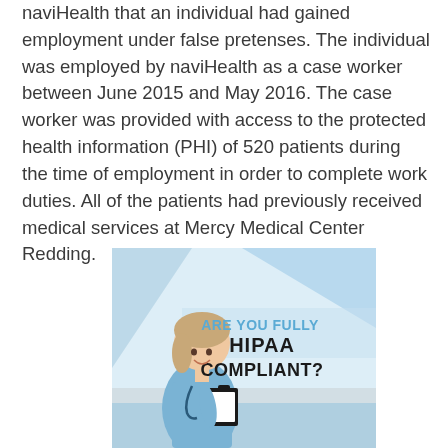naviHealth that an individual had gained employment under false pretenses. The individual was employed by naviHealth as a case worker between June 2015 and May 2016. The case worker was provided with access to the protected health information (PHI) of 520 patients during the time of employment in order to complete work duties. All of the patients had previously received medical services at Mercy Medical Center Redding.
[Figure (illustration): Promotional image showing a female nurse in blue scrubs holding a clipboard, with text overlay reading 'ARE YOU FULLY HIPAA COMPLIANT?' on a blue and grey striped background.]